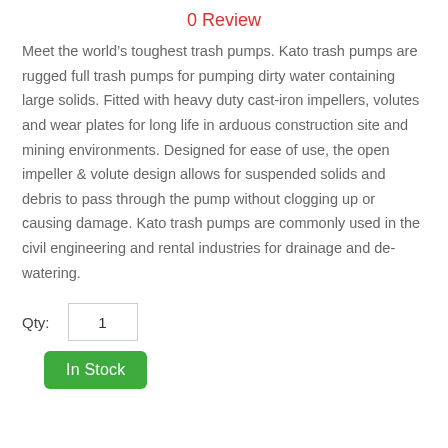0 Review
Meet the world’s toughest trash pumps. Kato trash pumps are rugged full trash pumps for pumping dirty water containing large solids. Fitted with heavy duty cast-iron impellers, volutes and wear plates for long life in arduous construction site and mining environments. Designed for ease of use, the open impeller & volute design allows for suspended solids and debris to pass through the pump without clogging up or causing damage. Kato trash pumps are commonly used in the civil engineering and rental industries for drainage and de-watering.
Qty: 1
In Stock